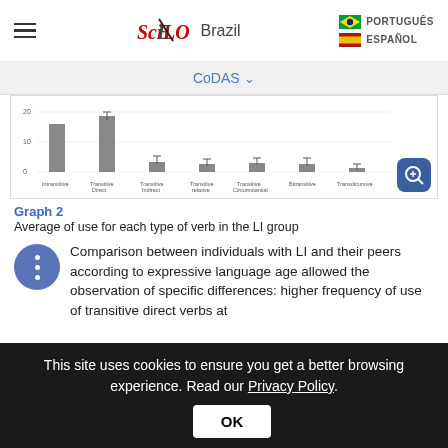SciELO Brazil | PORTUGUÊS | ESPAÑOL
CoDAS
[Figure (bar-chart): Bar chart showing average of use for each type of verb in the LI group. Categories include Intransitive, Transitive Direct, Transitive Indirect, Transitive relative, Transitive Circumstantial, Bitransitive, Transdicursive, others.]
Graph 2
Average of use for each type of verb in the LI group
Comparison between individuals with LI and their peers according to expressive language age allowed the observation of specific differences: higher frequency of use of transitive direct verbs at
This site uses cookies to ensure you get a better browsing experience. Read our Privacy Policy.